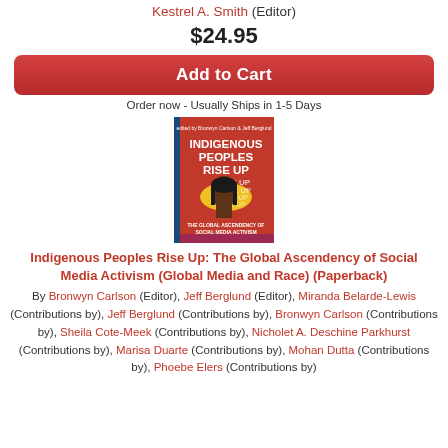Kestrel A. Smith (Editor)
$24.95
Add to Cart
Order now - Usually Ships in 1-5 Days
[Figure (illustration): Book cover of 'Indigenous Peoples Rise Up: The Global Ascendency of Social Media Activism' with a stylized illustration of an Indigenous person and red background with repeated 'RISE UP' text]
Indigenous Peoples Rise Up: The Global Ascendency of Social Media Activism (Global Media and Race) (Paperback)
By Bronwyn Carlson (Editor), Jeff Berglund (Editor), Miranda Belarde-Lewis (Contributions by), Jeff Berglund (Contributions by), Bronwyn Carlson (Contributions by), Sheila Cote-Meek (Contributions by), Nicholet A. Deschine Parkhurst (Contributions by), Marisa Duarte (Contributions by), Mohan Dutta (Contributions by), Phoebe Elers (Contributions by)